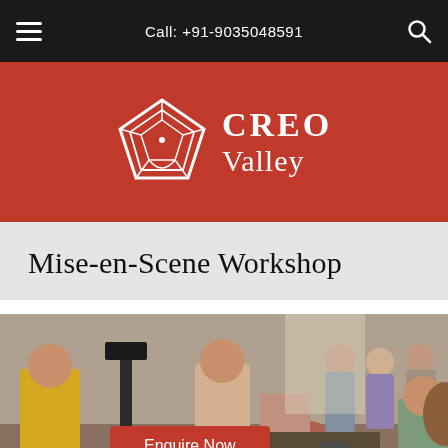Call: +91-9035048591
[Figure (logo): CREO Valley logo — white pentagon/gem outline on red background with CREO Valley text in white]
Mise-en-Scene Workshop
[Figure (photo): Workshop participants in a large room; people standing in background, two people bending over something on the floor in foreground; a person in yellow jacket on the left, a woman seated on the right]